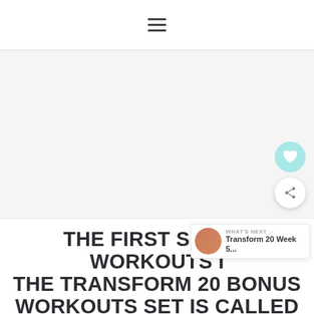≡
[Figure (photo): Large image placeholder with light gray background, likely a fitness or workout-related image]
THE FIRST SET OF WORKOUTS IN THE TRANSFORM 20 BONUS WORKOUTS SET IS CALLED CUT AND WILL REQUIRE WEIGHTS